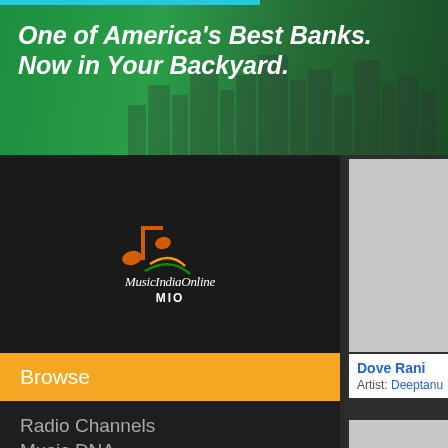[Figure (screenshot): Advertisement banner: green background with city skyline silhouette. Text reads 'One of America's Best Banks. Now in Your Backyard.']
[Figure (logo): MusicIndiaOnline MIO logo with musical notes in orange/red/green on dark background]
Browse
Radio Channels
Music DNA
My Music
Help
PLAYLISTS
[Figure (photo): Gray placeholder image for album/song card]
Dove Rani
Artist: Deeptanu
[Figure (photo): Second gray placeholder image for album/song card]